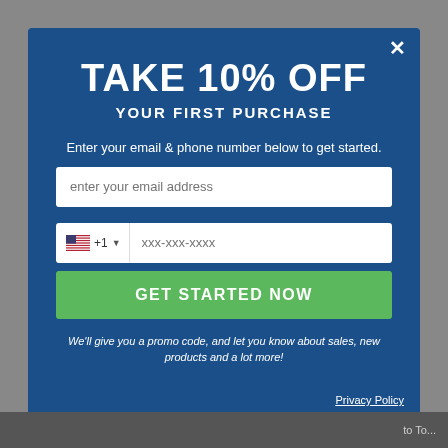TAKE 10% OFF YOUR FIRST PURCHASE
Enter your email & phone number below to get started.
enter your email address
+1  xxx-xxx-xxxx
GET STARTED NOW
We'll give you a promo code, and let you know about sales, new products and a lot more!
Privacy Policy